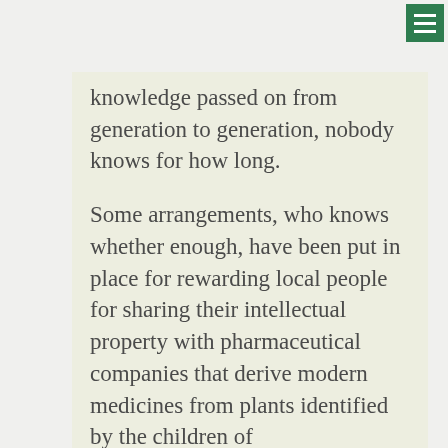knowledge passed on from generation to generation, nobody knows for how long.

Some arrangements, who knows whether enough, have been put in place for rewarding local people for sharing their intellectual property with pharmaceutical companies that derive modern medicines from plants identified by the children of the land (Green Bel...